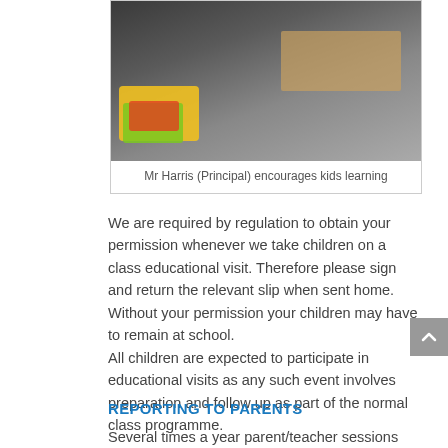[Figure (photo): Photo of Mr Harris (Principal) encouraging kids learning at a classroom table with colorful educational materials]
Mr Harris (Principal) encourages kids learning
We are required by regulation to obtain your permission whenever we take children on a class educational visit. Therefore please sign and return the relevant slip when sent home. Without your permission your children may have to remain at school.
All children are expected to participate in educational visits as any such event involves preparation and follow up as part of the normal class programme.
REPORTING TO PARENTS
Several times a year parent/teacher sessions are